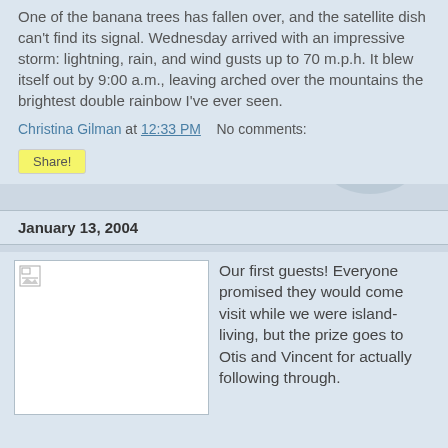One of the banana trees has fallen over, and the satellite dish can't find its signal. Wednesday arrived with an impressive storm: lightning, rain, and wind gusts up to 70 m.p.h. It blew itself out by 9:00 a.m., leaving arched over the mountains the brightest double rainbow I've ever seen.
Christina Gilman at 12:33 PM   No comments:
Share!
January 13, 2004
[Figure (photo): Broken image placeholder (small document icon in top-left corner of white box)]
Our first guests! Everyone promised they would come visit while we were island-living, but the prize goes to Otis and Vincent for actually following through.